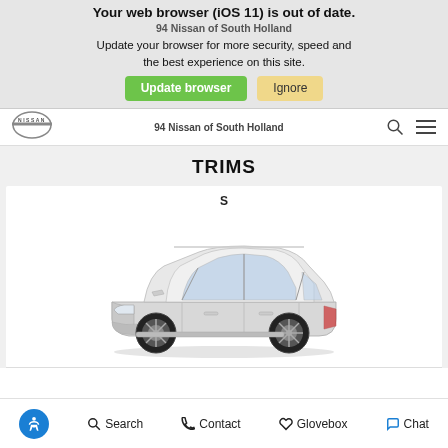Your web browser (iOS 11) is out of date. Update your browser for more security, speed and the best experience on this site.
94 Nissan of South Holland
Update browser | Ignore
TRIMS
S
[Figure (photo): Side profile view of a white Nissan SUV (Rogue Sport / Qashqai), showing the full body including wheels, doors, windows, and grille.]
Search  Contact  Glovebox  Chat